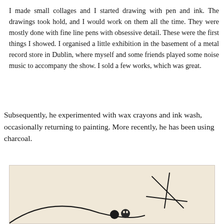I made small collages and I started drawing with pen and ink. The drawings took hold, and I would work on them all the time. They were mostly done with fine line pens with obsessive detail. These were the first things I showed. I organised a little exhibition in the basement of a metal record store in Dublin, where myself and some friends played some noise music to accompany the show. I sold a few works, which was great.
Subsequently, he experimented with wax crayons and ink wash, occasionally returning to painting. More recently, he has been using charcoal.
[Figure (illustration): A minimalist line drawing on a warm beige/cream background. The drawing shows abstract figures — two small dark circular heads (one plain dark circle, one with a simple face) near the bottom center, and a cross-like or star-like angular form composed of thin black lines in the lower right area. A large curved line sweeps from the lower left across the bottom. The style is sparse and gestural.]